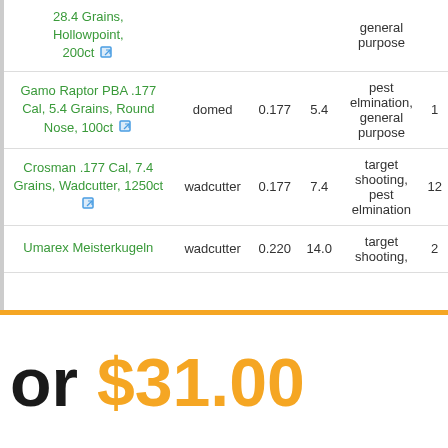| Product | Shape | Caliber | Grains | Use | Count |
| --- | --- | --- | --- | --- | --- |
| 28.4 Grains, Hollowpoint, 200ct |  |  |  | general purpose |  |
| Gamo Raptor PBA .177 Cal, 5.4 Grains, Round Nose, 100ct | domed | 0.177 | 5.4 | pest elmination, general purpose | 1 |
| Crosman .177 Cal, 7.4 Grains, Wadcutter, 1250ct | wadcutter | 0.177 | 7.4 | target shooting, pest elmination | 12 |
| Umarex Meisterkugeln | wadcutter | 0.220 | 14.0 | target shooting, | 2 |
or $31.00